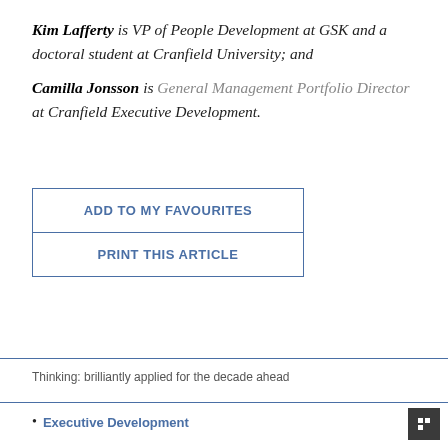Kim Lafferty is VP of People Development at GSK and a doctoral student at Cranfield University; and
Camilla Jonsson is General Management Portfolio Director at Cranfield Executive Development.
ADD TO MY FAVOURITES
PRINT THIS ARTICLE
Thinking: brilliantly applied for the decade ahead
Executive Development